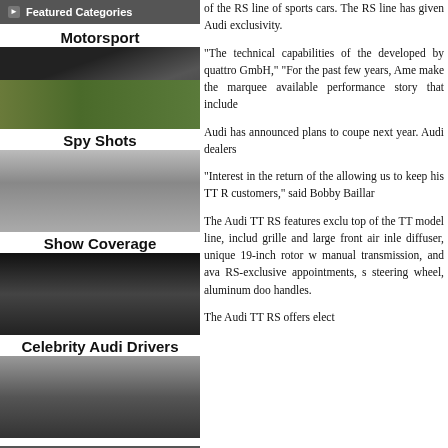Featured Categories
Motorsport
[Figure (photo): Motorsport racing car on track]
Spy Shots
[Figure (photo): Camouflaged car spy shot]
Show Coverage
[Figure (photo): Auto show coverage with cars on stage]
Celebrity Audi Drivers
[Figure (photo): Celebrity in an Audi]
The Archives
July 2011 (24)
of the RS line of sports cars. The RS line has given Audi exclusivity.
“The technical capabilities of the developed by quattro GmbH,” “For the past few years, Ame make the marquee available performance story that include
Audi has announced plans to coupe next year. Audi dealers
“Interest in the return of the allowing us to keep his TT R customers,” said Bobby Baillar
The Audi TT RS features exclu top of the TT model line, includ grille and large front air inle diffuser, unique 19-inch rotor w manual transmission, and ava RS-exclusive appointments, s steering wheel, aluminum doo handles.
The Audi TT RS offers elect